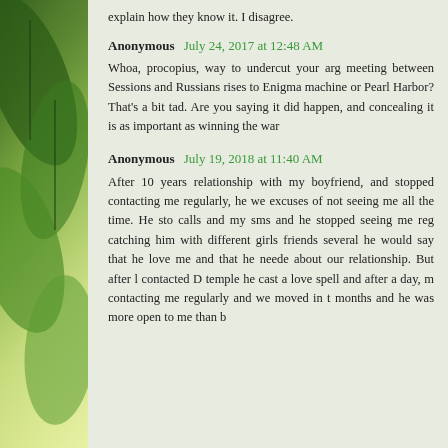explain how they know it. I disagree.
Anonymous July 24, 2017 at 12:48 AM
Whoa, procopius, way to undercut your arg meeting between Sessions and Russians rises to Enigma machine or Pearl Harbor? That's a bit tad. Are you saying it did happen, and concealing it is as important as winning the war
Anonymous July 19, 2018 at 11:40 AM
After 10 years relationship with my boyfriend, and stopped contacting me regularly, he we excuses of not seeing me all the time. He sto calls and my sms and he stopped seeing me reg catching him with different girls friends several he would say that he love me and that he neede about our relationship. But after l contacted D temple he cast a love spell and after a day, m contacting me regularly and we moved in t months and he was more open to me than b